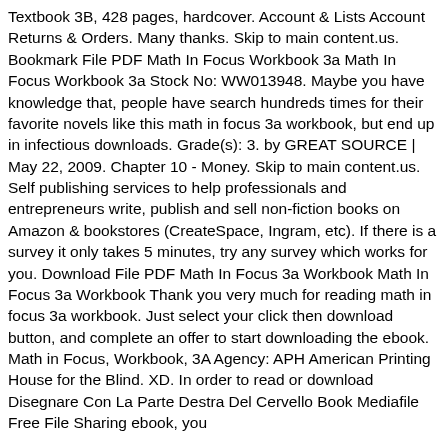Textbook 3B, 428 pages, hardcover. Account & Lists Account Returns & Orders. Many thanks. Skip to main content.us. Bookmark File PDF Math In Focus Workbook 3a Math In Focus Workbook 3a Stock No: WW013948. Maybe you have knowledge that, people have search hundreds times for their favorite novels like this math in focus 3a workbook, but end up in infectious downloads. Grade(s): 3. by GREAT SOURCE | May 22, 2009. Chapter 10 - Money. Skip to main content.us. Self publishing services to help professionals and entrepreneurs write, publish and sell non-fiction books on Amazon & bookstores (CreateSpace, Ingram, etc). If there is a survey it only takes 5 minutes, try any survey which works for you. Download File PDF Math In Focus 3a Workbook Math In Focus 3a Workbook Thank you very much for reading math in focus 3a workbook. Just select your click then download button, and complete an offer to start downloading the ebook. Math in Focus, Workbook, 3A Agency: APH American Printing House for the Blind. XD. In order to read or download Disegnare Con La Parte Destra Del Cervello Book Mediafile Free File Sharing ebook, you